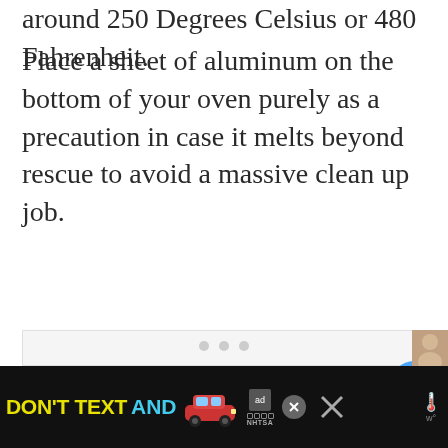around 250 Degrees Celsius or 480 Fahrenheit.
Place a sheet of aluminum on the bottom of your oven purely as a precaution in case it melts beyond rescue to avoid a massive clean up job.
[Figure (photo): A light gray image area with three pagination dots at the bottom center, a blue circular heart/favorite button on the right side, and a white circular share button below it.]
[Figure (infographic): Advertisement banner: black background with yellow text 'DON'T TEXT' and cyan text 'AND', a red car emoji, ad choices logo, NHTSA logo, and a close X button.]